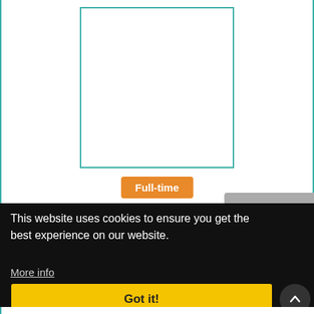[Figure (other): Company logo placeholder box with teal border, empty white interior]
Full-time
1 Jobs
This website uses cookies to ensure you get the best experience on our website.
More info
Got it!